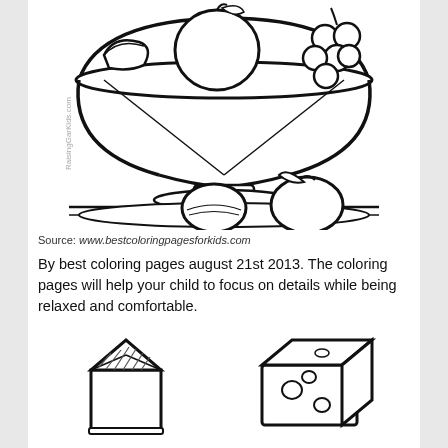[Figure (illustration): Black and white coloring page illustration of a fruit bowl on a pedestal with bananas, an apple, and grapes, with a lemon and other fruits on a platter below. Watermark text 'RaisingGarKids.com' visible on left side.]
Source: www.bestcoloringpagesforkids.com
By best coloring pages august 21st 2013. The coloring pages will help your child to focus on details while being relaxed and comfortable.
[Figure (illustration): Black and white coloring page illustrations of a milk carton (left) and a block of cheese (right).]